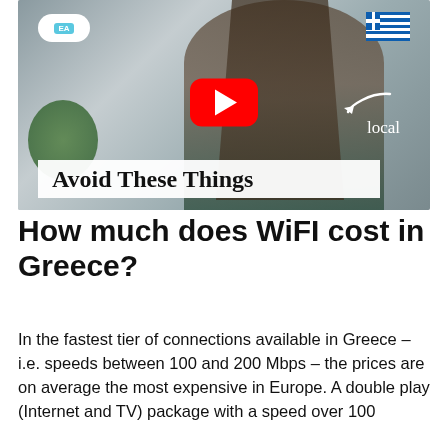[Figure (screenshot): YouTube video thumbnail showing a young woman with long dark hair against a background with plants. Text overlay reads 'Avoid These Things'. EA badge in top left, Greek flag in top right, YouTube play button in center, arrow pointing right with word 'local'.]
How much does WiFI cost in Greece?
In the fastest tier of connections available in Greece – i.e. speeds between 100 and 200 Mbps – the prices are on average the most expensive in Europe. A double play (Internet and TV) package with a speed over 100